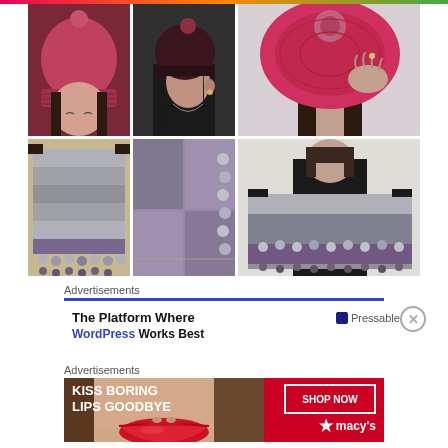[Figure (photo): Grid of six knitting/crochet photos: top row shows three images of women wearing red/pink knit hats with pom-poms; bottom row shows three images of a grey and purple knit/crochet blanket with pom-pom fringe]
Advertisements
[Figure (screenshot): Advertisement for Pressable: 'The Platform Where WordPress Works Best']
Advertisements
[Figure (infographic): Macy's advertisement banner: 'KISS BORING LIPS GOODBYE' with SHOP NOW button and Macy's star logo, featuring a woman's face with red lips]